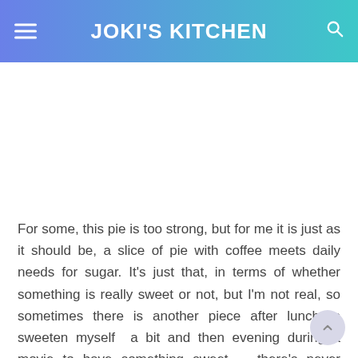JOKI'S KITCHEN
[Figure (other): White blank advertisement/image area]
For some, this pie is too strong, but for me it is just as it should be, a slice of pie with coffee meets daily needs for sugar. It's just that, in terms of whether something is really sweet or not, but I'm not real, so sometimes there is another piece after lunch to sweeten myself  a bit and then evening during a movie to have something sweet ... there's never enough chocolate for me.